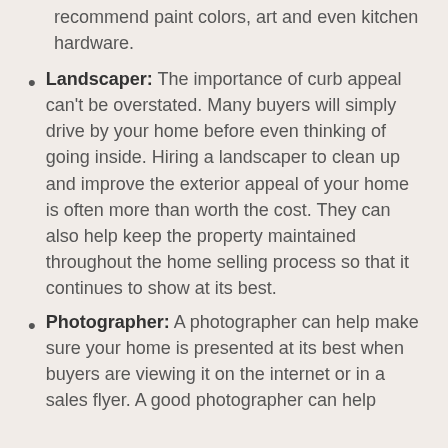recommend paint colors, art and even kitchen hardware.
Landscaper: The importance of curb appeal can't be overstated. Many buyers will simply drive by your home before even thinking of going inside. Hiring a landscaper to clean up and improve the exterior appeal of your home is often more than worth the cost. They can also help keep the property maintained throughout the home selling process so that it continues to show at its best.
Photographer: A photographer can help make sure your home is presented at its best when buyers are viewing it on the internet or in a sales flyer. A good photographer can help